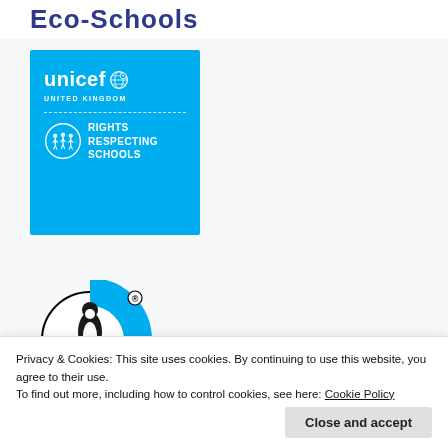Eco-Schools
[Figure (logo): UNICEF United Kingdom Rights Respecting Schools logo — cyan/blue background with unicef wordmark, globe icon, dashed divider, circle icon with children figures, and text RIGHTS RESPECTING SCHOOLS]
[Figure (logo): Fairtrade logo — circular mark with black, cyan and green segments and registered trademark symbol]
Privacy & Cookies: This site uses cookies. By continuing to use this website, you agree to their use.
To find out more, including how to control cookies, see here: Cookie Policy
Close and accept